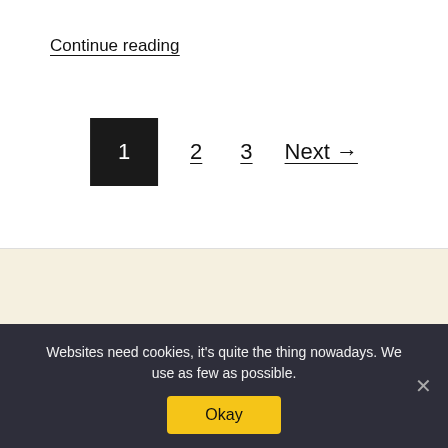Continue reading
1  2  3  Next →
MENU
About us
Websites need cookies, it's quite the thing nowadays. We use as few as possible.